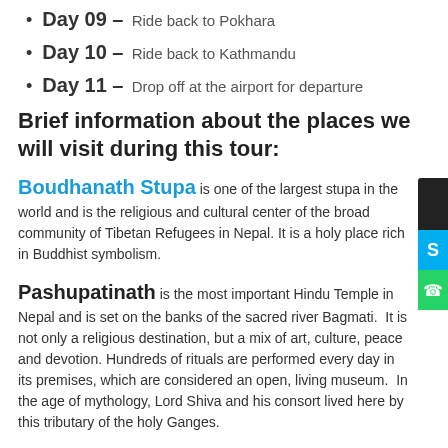Day 09 – Ride back to Pokhara
Day 10 – Ride back to Kathmandu
Day 11 – Drop off at the airport for departure
Brief information about the places we will visit during this tour:
Boudhanath Stupa is one of the largest stupa in the world and is the religious and cultural center of the broad community of Tibetan Refugees in Nepal. It is a holy place rich in Buddhist symbolism.
Pashupatinath is the most important Hindu Temple in Nepal and is set on the banks of the sacred river Bagmati. It is not only a religious destination, but a mix of art, culture, peace and devotion. Hundreds of rituals are performed every day in its premises, which are considered an open, living museum. In the age of mythology, Lord Shiva and his consort lived here by this tributary of the holy Ganges.